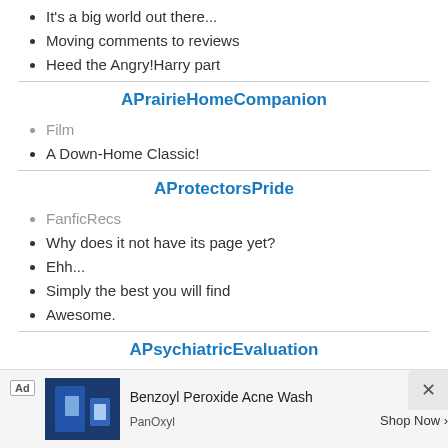It's a big world out there...
Moving comments to reviews
Heed the Angry!Harry part
APrairieHomeCompanion
Film
A Down-Home Classic!
AProtectorsPride
FanficRecs
Why does it not have its page yet?
Ehh...
Simply the best you will find
Awesome.
APsychiatricEvaluation
FanficRecs
Short but sweet
Aquaman
[Figure (other): Advertisement banner for Benzoyl Peroxide Acne Wash by PanOxyl with Shop Now button]